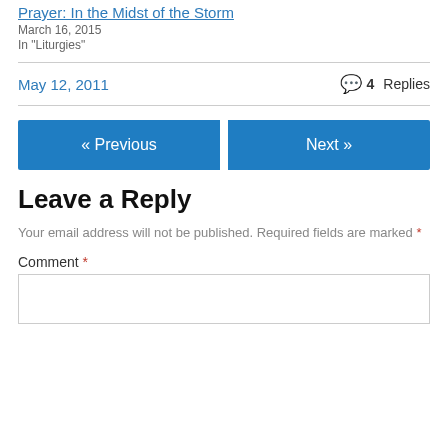Prayer: In the Midst of the Storm
March 16, 2015
In "Liturgies"
May 12, 2011
4 Replies
« Previous
Next »
Leave a Reply
Your email address will not be published. Required fields are marked *
Comment *